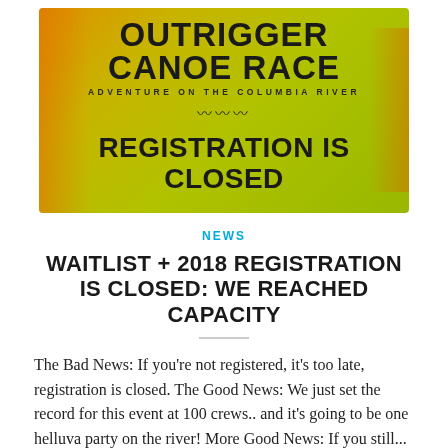[Figure (illustration): Outrigger Canoe Race banner image with yellow-green background showing bold text: 'OUTRIGGER CANOE RACE', subtitle 'ADVENTURE ON THE COLUMBIA RIVER', wave symbol, and large text 'REGISTRATION IS CLOSED']
NEWS
WAITLIST + 2018 REGISTRATION IS CLOSED: WE REACHED CAPACITY
The Bad News: If you're not registered, it's too late, registration is closed. The Good News: We just set the record for this event at 100 crews.. and it's going to be one helluva party on the river! More Good News: If you still...